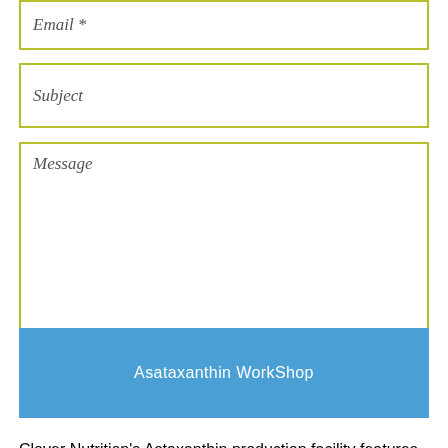[Figure (screenshot): Contact form with Email, Subject, and Message input fields outlined in yellow-green, plus a Send button]
Email *
Subject
Message
Send
[Figure (illustration): Blue banner with white text reading 'Asataxanthin WorkShop']
Clover Nutrition's Astaxanthin production facility features sealed, with glass tubes, which insures a very clean